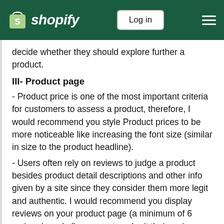Shopify — Log in
decide whether they should explore further a product.
III- Product page
- Product price is one of the most important criteria for customers to assess a product, therefore, I would recommend you style Product prices to be more noticeable like increasing the font size (similar in size to the product headline).
- Users often rely on reviews to judge a product besides product detail descriptions and other info given by a site since they consider them more legit and authentic. I would recommend you display reviews on your product page (a minimum of 6 reviews)  and allow users to submit their reviews.